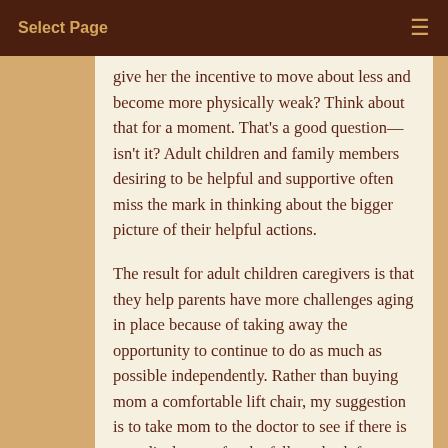Select Page
give her the incentive to move about less and become more physically weak? Think about that for a moment. That’s a good question—isn’t it? Adult children and family members desiring to be helpful and supportive often miss the mark in thinking about the bigger picture of their helpful actions.
The result for adult children caregivers is that they help parents have more challenges aging in place because of taking away the opportunity to continue to do as much as possible independently. Rather than buying mom a comfortable lift chair, my suggestion is to take mom to the doctor to see if there is a medical cause for the falls and ask for